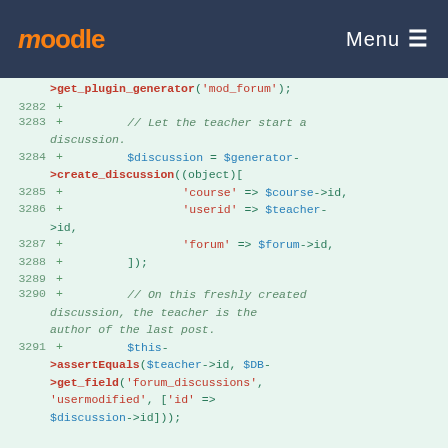moodle  Menu
[Figure (screenshot): Moodle code diff view showing PHP code lines 3282-3291, with green highlighted additions showing forum discussion creation and assertion code]